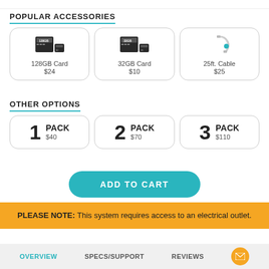POPULAR ACCESSORIES
[Figure (illustration): 128GB microSD card icon]
128GB Card
$24
[Figure (illustration): 32GB microSD card icon]
32GB Card
$10
[Figure (illustration): 25ft cable icon]
25ft. Cable
$25
OTHER OPTIONS
1 PACK $40
2 PACK $70
3 PACK $110
ADD TO CART
PLEASE NOTE: This system requires access to an electrical outlet.
OVERVIEW   SPECS/SUPPORT   REVIEWS